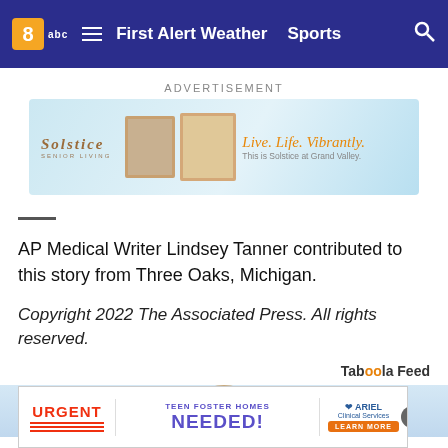8abc  ≡  First Alert Weather  Sports  🔍
ADVERTISEMENT
[Figure (photo): Solstice Senior Living advertisement banner: 'Live. Life. Vibrantly. This is Solstice at Grand Valley.']
AP Medical Writer Lindsey Tanner contributed to this story from Three Oaks, Michigan.
Copyright 2022 The Associated Press. All rights reserved.
Taboola Feed
[Figure (photo): Person holding a sign, partially visible at bottom of page. Also shows bottom advertisement: URGENT - TEEN FOSTER HOMES NEEDED! ARIEL Clinical Services - LEARN MORE]
[Figure (advertisement): Bottom banner ad: URGENT - TEEN FOSTER HOMES NEEDED! ARIEL Clinical Services - LEARN MORE button]